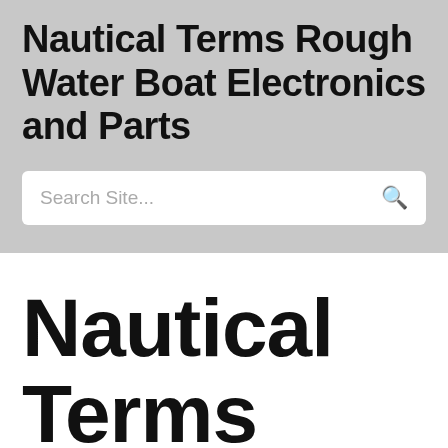Nautical Terms Rough Water Boat Electronics and Parts
Search Site...
Nautical Terms